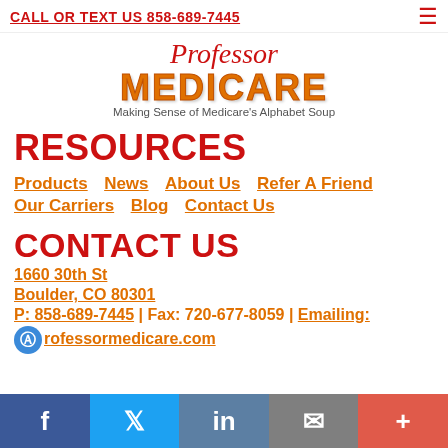CALL OR TEXT US 858-689-7445
[Figure (logo): Professor Medicare logo with orange bubble letter text and tagline 'Making Sense of Medicare's Alphabet Soup']
RESOURCES
Products | News | About Us | Refer A Friend | Our Carriers | Blog | Contact Us
CONTACT US
1660 30th St
Boulder, CO 80301
P: 858-689-7445 | Fax: 720-677-8059 | Emailing: p...rofessormedicare.com
[Figure (infographic): Social media footer bar with Facebook, Twitter, LinkedIn, Email, and plus buttons]